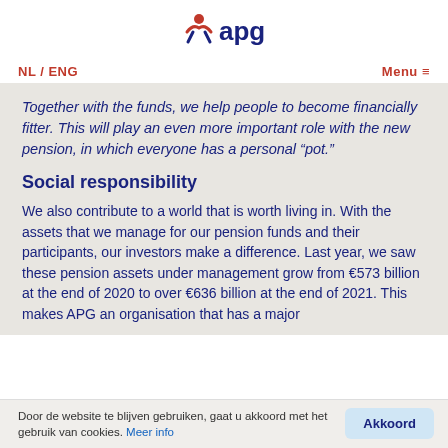[Figure (logo): APG logo with stylized person icon in red and dark blue, with text 'apg' in dark blue]
NL / ENG   Menu
Together with the funds, we help people to become financially fitter. This will play an even more important role with the new pension, in which everyone has a personal “pot.”
Social responsibility
We also contribute to a world that is worth living in. With the assets that we manage for our pension funds and their participants, our investors make a difference. Last year, we saw these pension assets under management grow from €573 billion at the end of 2020 to over €636 billion at the end of 2021. This makes APG an organisation that has a major
Door de website te blijven gebruiken, gaat u akkoord met het gebruik van cookies. Meer info